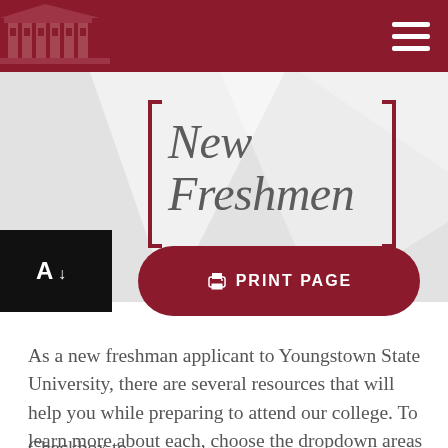[Figure (screenshot): University website header with dark red background, partial building logo on left, and hamburger menu icon on right]
New Freshmen
[Figure (other): Black accessibility button with 'A' and down-arrow icon]
[Figure (other): Dark red rounded button labeled 'PRINT PAGE' with printer icon]
As a new freshman applicant to Youngstown State University, there are several resources that will help you while preparing to attend our college. To learn more about each, choose the dropdown areas below.
Checkbox...